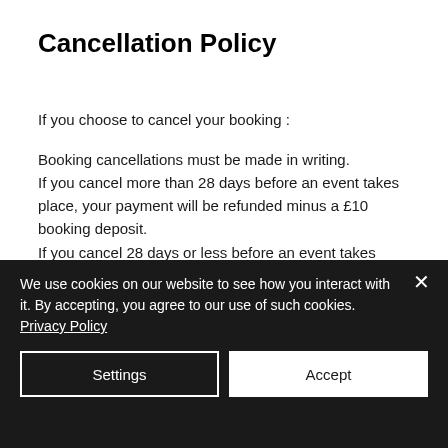Cancellation Policy
If you choose to cancel your booking :
Booking cancellations must be made in writing.
If you cancel more than 28 days before an event takes place, your payment will be refunded minus a £10 booking deposit.
If you cancel 28 days or less before an event takes place, no payment will be returned.
We do not offer credit towards future
We use cookies on our website to see how you interact with it. By accepting, you agree to our use of such cookies. Privacy Policy
Settings
Accept